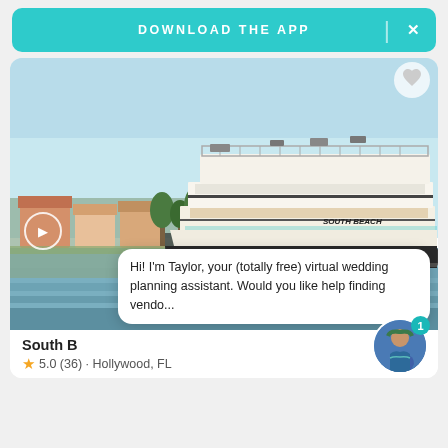DOWNLOAD THE APP  X
[Figure (photo): A large white multi-deck cruise/event yacht named 'South Beach' on a waterway with residential buildings and palm trees in the background]
Hi! I'm Taylor, your (totally free) virtual wedding planning assistant. Would you like help finding vendo...
South B
★ 5.0 (36) · Hollywood, FL